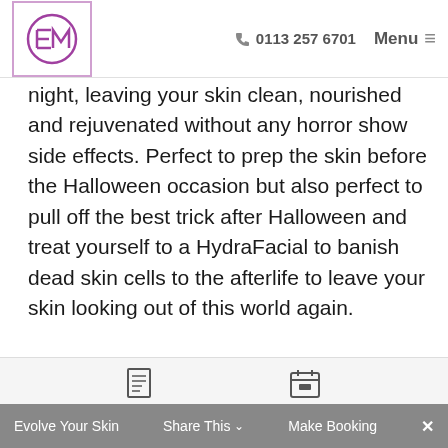EM logo | 0113 257 6701 | Menu
night, leaving your skin clean, nourished and rejuvenated without any horror show side effects. Perfect to prep the skin before the Halloween occasion but also perfect to pull off the best trick after Halloween and treat yourself to a HydraFacial to banish dead skin cells to the afterlife to leave your skin looking out of this world again.
REMOVAL
Evolve Your Skin | Share This | Make Booking | ×